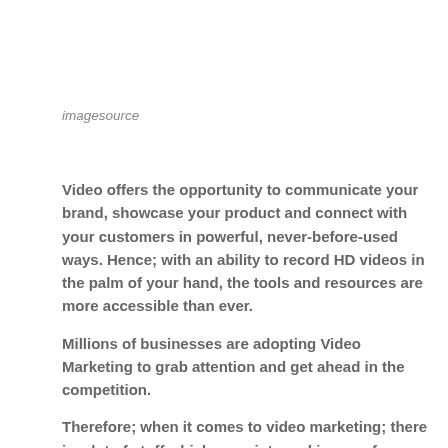imagesource
Video offers the opportunity to communicate your brand, showcase your product and connect with your customers in powerful, never-before-used ways. Hence; with an ability to record HD videos in the palm of your hand, the tools and resources are more accessible than ever.
Millions of businesses are adopting Video Marketing to grab attention and get ahead in the competition.
Therefore; when it comes to video marketing; there is a lot of stuff which goes into making....... from video strategies, video content,